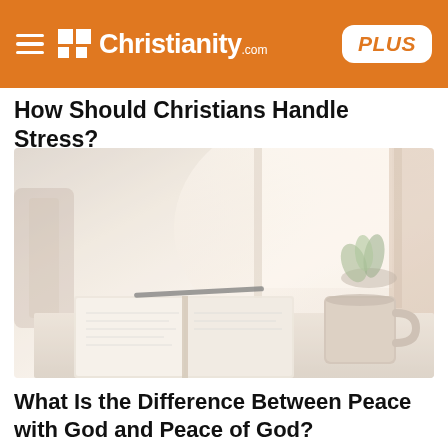Christianity.com PLUS
How Should Christians Handle Stress?
[Figure (photo): A peaceful desk scene with an open book/Bible, a pen, a coffee mug, a small potted plant, and soft natural window light in the background — muted warm tones.]
What Is the Difference Between Peace with God and Peace of God?